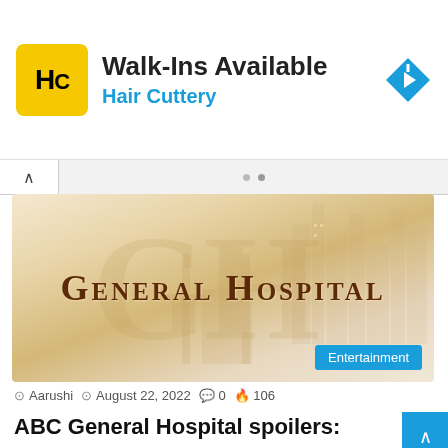[Figure (screenshot): Hair Cuttery advertisement banner with yellow HC logo, 'Walk-Ins Available' heading, 'Hair Cuttery' subheading in blue, and a blue diamond navigation arrow icon on the right]
[Figure (screenshot): General Hospital TV show title card image with beige/tan cityscape watermark background and 'General Hospital' text in dark brown serif font, with a teal 'Entertainment' badge in lower right]
Aarushi  August 22, 2022  0  106
ABC General Hospital spoilers: Love is in the air at the Quartermaine picnic, but there's danger ahead as well!